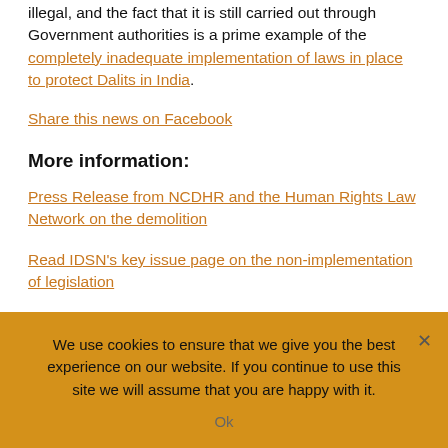illegal, and the fact that it is still carried out through Government authorities is a prime example of the completely inadequate implementation of laws in place to protect Dalits in India.
Share this news on Facebook
More information:
Press Release from NCDHR and the Human Rights Law Network on the demolition
Read IDSN's key issue page on the non-implementation of legislation
Press Clipping: Karol Bagh settlement demolished, The Hindu, New Delhi, July 29,2011
We use cookies to ensure that we give you the best experience on our website. If you continue to use this site we will assume that you are happy with it.